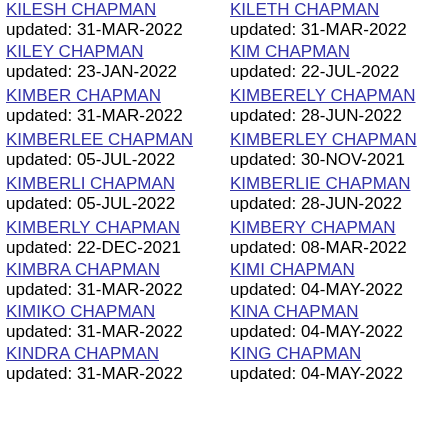KILESH CHAPMAN updated: 31-MAR-2022
KILEY CHAPMAN updated: 23-JAN-2022
KIMBER CHAPMAN updated: 31-MAR-2022
KIMBERLEE CHAPMAN updated: 05-JUL-2022
KIMBERLI CHAPMAN updated: 05-JUL-2022
KIMBERLY CHAPMAN updated: 22-DEC-2021
KIMBRA CHAPMAN updated: 31-MAR-2022
KIMIKO CHAPMAN updated: 31-MAR-2022
KINDRA CHAPMAN updated: 31-MAR-2022
KILETH CHAPMAN updated: 31-MAR-2022
KIM CHAPMAN updated: 22-JUL-2022
KIMBERELY CHAPMAN updated: 28-JUN-2022
KIMBERLEY CHAPMAN updated: 30-NOV-2021
KIMBERLIE CHAPMAN updated: 28-JUN-2022
KIMBERY CHAPMAN updated: 08-MAR-2022
KIMI CHAPMAN updated: 04-MAY-2022
KINA CHAPMAN updated: 04-MAY-2022
KING CHAPMAN updated: 04-MAY-2022